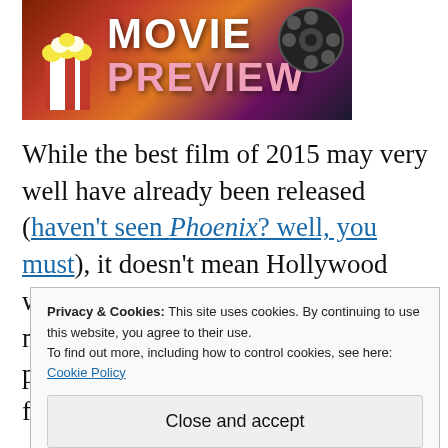[Figure (illustration): Movie Preview banner image with popcorn, film reel graphics and bold text reading MOVIE PREVIEW]
While the best film of 2015 may very well have already been released (haven't seen Phoenix? well, you must), it doesn't mean Hollywood won't be crowding the autumnal multiplexes with high-end genre pieces and prestige flicks stacked like fallen leaves piled up at a suburban
Privacy & Cookies: This site uses cookies. By continuing to use this website, you agree to their use.
To find out more, including how to control cookies, see here: Cookie Policy
Close and accept